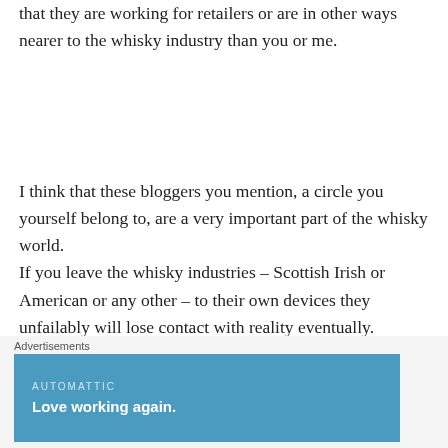that they are working for retailers or are in other ways nearer to the whisky industry than you or me.
I think that these bloggers you mention, a circle you yourself belong to, are a very important part of the whisky world.
If you leave the whisky industries – Scottish Irish or American or any other – to their own devices they unfailably will lose contact with reality eventually.
If we critzise the industry her protagonists and her schemes methods behavior and deeds as
Advertisements
[Figure (other): Advertisement banner for Automattic with text 'Love working again.' on a blue background]